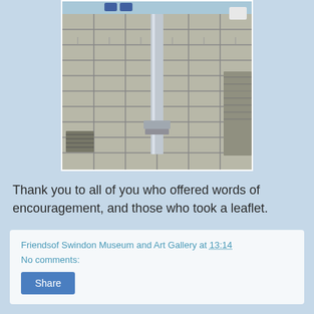[Figure (photo): Photograph of paving stones with a metal pole/post base visible, taken outdoors. People's feet visible at the top of the image.]
Thank you to all of you who offered words of encouragement, and those who took a leaflet.
Friendsof Swindon Museum and Art Gallery at 13:14
No comments:
Share
Latest Cabinet Paper for 1 December
The next Cabinet meeting is being held next Wednesday 1 December at 6pm at the Civic Offices, we are hoping to be